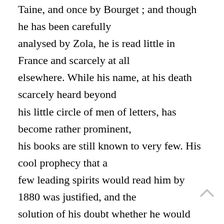Taine, and once by Bourget ; and though he has been carefully analysed by Zola, he is read little in France and scarcely at all elsewhere. While his name, at his death scarcely heard beyond his little circle of men of letters, has become rather prominent, his books are still known to very few. His cool prophecy that a few leading spirits would read him by 1880 was justified, and the solution of his doubt whether he would not by 1930 have sunk again into oblivion seems now at least as likely as it was then to be an affirmative. “ To the happy few,” he dedicated his latest